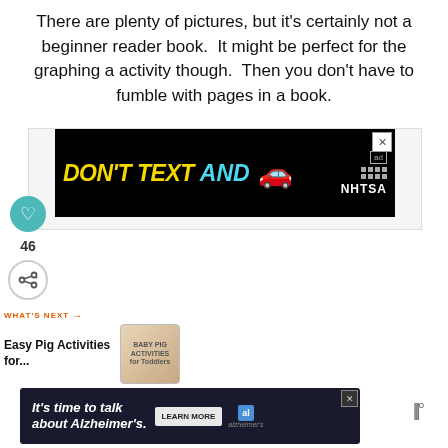There are plenty of pictures, but it's certainly not a beginner reader book.  It might be perfect for the graphing a activity though.  Then you don't have to fumble with pages in a book.
[Figure (screenshot): Advertisement banner: 'DON'T TEXT AND' with car emoji and NHTSA logo on black background]
[Figure (screenshot): Social interaction area with heart/like button, count of 46, and share button]
[Figure (screenshot): What's Next section: Easy Pig Activities for... with thumbnail image]
[Figure (screenshot): Advertisement banner: It's time to talk about Alzheimer's. with Learn More button and Alzheimer's Association logo]